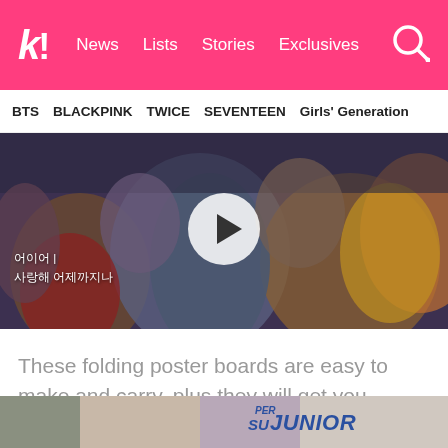k! News Lists Stories Exclusives
BTS  BLACKPINK  TWICE  SEVENTEEN  Girls' Generation
[Figure (screenshot): Video thumbnail showing a crowd of excited fans/concert-goers with Korean subtitles visible. A circular play button overlay is in the center.]
These folding poster boards are easy to make and carry, plus they will get you noticed by your bias!
[Figure (photo): Partial view of a K-pop fan merchandise photo with Super Junior logo visible on the right.]